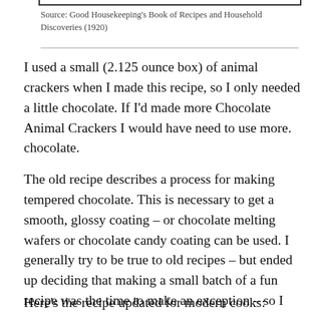Source: Good Housekeeping's Book of Recipes and Household Discoveries (1920)
I used a small (2.125 ounce box) of animal crackers when I made this recipe, so I only needed a little chocolate. If I'd made more Chocolate Animal Crackers I would have need to use more. chocolate.
The old recipe describes a process for making tempered chocolate. This is necessary to get a smooth, glossy coating – or chocolate melting wafers or chocolate candy coating can be used. I generally try to be true to old recipes – but ended up deciding that making a small batch of a fun recipe was the time to make an exception – so I went with the melting chocolate waters.
Here's the recipe updated for modern cooks: